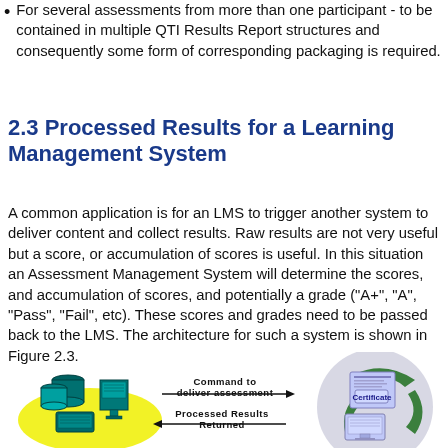For several assessments from more than one participant - to be contained in multiple QTI Results Report structures and consequently some form of corresponding packaging is required.
2.3 Processed Results for a Learning Management System
A common application is for an LMS to trigger another system to deliver content and collect results. Raw results are not very useful but a score, or accumulation of scores is useful. In this situation an Assessment Management System will determine the scores, and accumulation of scores, and potentially a grade ("A+", "A", "Pass", "Fail", etc). These scores and grades need to be passed back to the LMS. The architecture for such a system is shown in Figure 2.3.
[Figure (illustration): Architecture diagram showing an LMS system (left, with database and computer icons on yellow background) connected via arrows to an Assessment Management System (right, with certificate and computer icons on grey/green circular background). Arrow from left to right labeled 'Command to deliver assessment'. Arrow from right to left labeled 'Processed Results Returned'.]